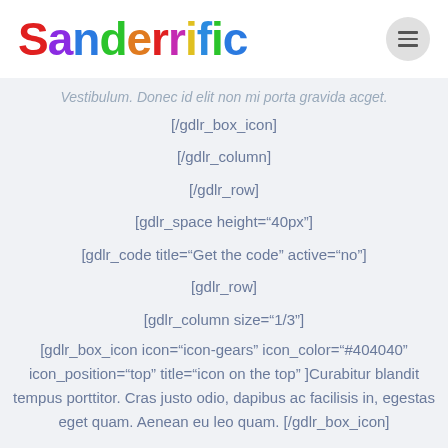Sanderrific
Vestibulum. Donec id elit non mi porta gravida acget.
[/gdlr_box_icon]
[/gdlr_column]
[/gdlr_row]
[gdlr_space height="40px"]
[gdlr_code title="Get the code" active="no"]
[gdlr_row]
[gdlr_column size="1/3"]
[gdlr_box_icon icon="icon-gears" icon_color="#404040" icon_position="top" title="icon on the top" ]Curabitur blandit tempus porttitor. Cras justo odio, dapibus ac facilisis in, egestas eget quam. Aenean eu leo quam. [/gdlr_box_icon]